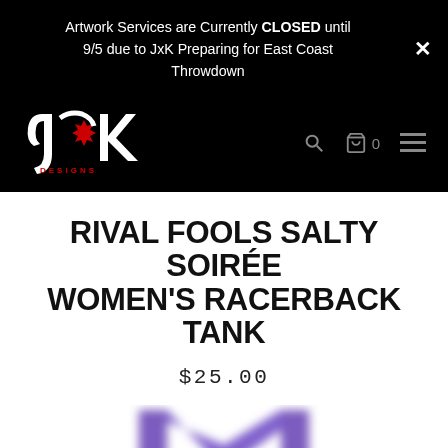Artwork Services are Currently CLOSED until 9/5 due to JxK Preparing for East Coast Throwdown
[Figure (logo): JxK Designs logo in white on black background with red star accent]
RIVAL FOOLS SALTY SOIRÉE WOMEN'S RACERBACK TANK
$25.00
[Figure (photo): Partially visible product image showing large purple letter M, blurred/cropped at bottom]